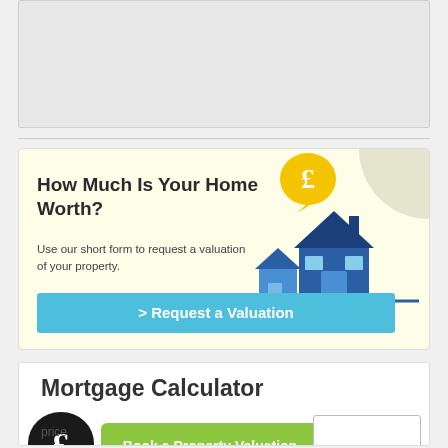[Figure (screenshot): Top banner grey area (advertisement placeholder)]
[Figure (infographic): Valuation widget with house illustration and pound sign speech bubble icon. Title: 'How Much Is Your Home Worth?', description text and a teal 'Request a Valuation' button.]
How Much Is Your Home Worth?
Use our short form to request a valuation of your property.
> Request a Valuation
[Figure (screenshot): Mortgage Calculator section with large pound sterling speech bubble icon, green 'Book a Property Valuation' button, input box, and 'price' label.]
Mortgage Calculator
Book a Property Valuation
price